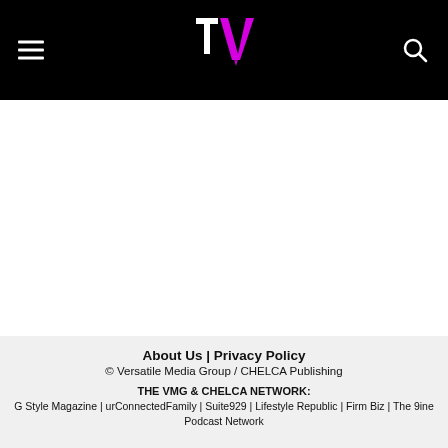TV logo header with hamburger menu and search icon
About Us | Privacy Policy
© Versatile Media Group / CHELCA Publishing
THE VMG & CHELCA NETWORK:
G Style Magazine | urConnectedFamily | Suite929 | Lifestyle Republic | Firm Biz | The 9ine Podcast Network